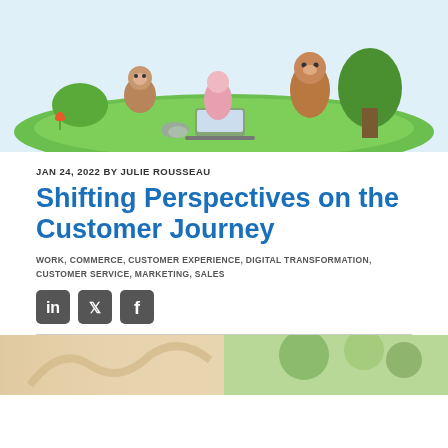[Figure (illustration): Cartoon illustration of animated characters (a monkey-like creature, a bear-like figure, and others) sitting on green grass with a laptop, trees in background, light blue sky]
JAN 24, 2022 BY JULIE ROUSSEAU
Shifting Perspectives on the Customer Journey
WORK, COMMERCE, CUSTOMER EXPERIENCE, DIGITAL TRANSFORMATION, CUSTOMER SERVICE, MARKETING, SALES
[Figure (illustration): Social media share icons: LinkedIn, Twitter, Facebook]
[Figure (photo): Two partial photos at the bottom of the page separated by a horizontal divider line]